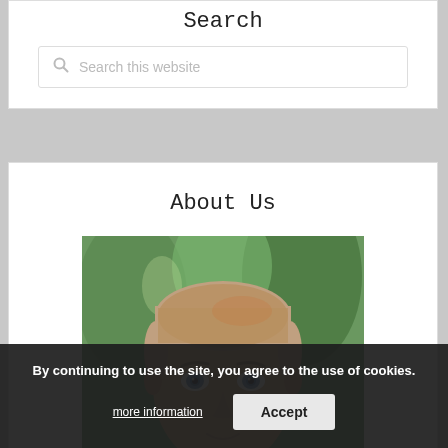Search
Search this website
About Us
[Figure (photo): Headshot photo of a young man with short light brown hair and blue eyes, outdoors with green trees in background]
By continuing to use the site, you agree to the use of cookies.
more information
Accept